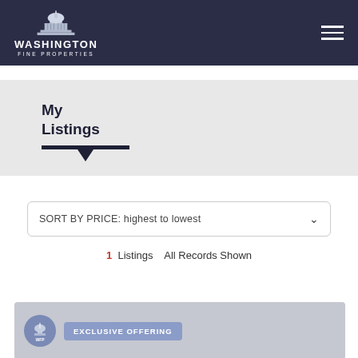[Figure (logo): Washington Fine Properties logo with Capitol dome icon, white text on dark navy background, hamburger menu icon top right]
My Listings
SORT BY PRICE: highest to lowest
1 Listings   All Records Shown
[Figure (other): Listing card with WFP circular badge and EXCLUSIVE OFFERING label on gray background]